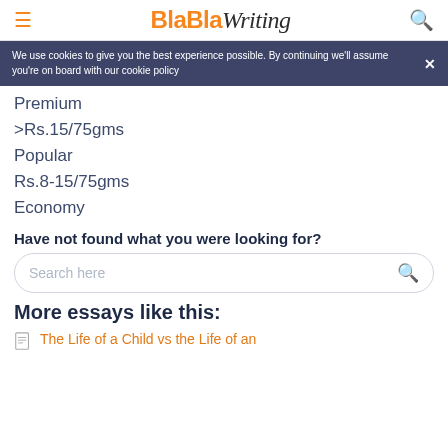BlaBlaWriting
We use cookies to give you the best experience possible. By continuing we'll assume you're on board with our cookie policy
Premium
>Rs.15/75gms
Popular
Rs.8-15/75gms
Economy
Have not found what you were looking for?
Search here
More essays like this:
The Life of a Child vs the Life of an